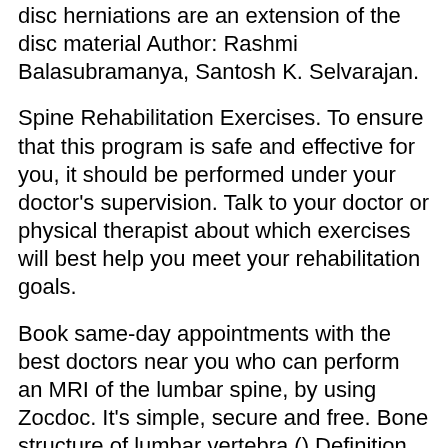disc herniations are an extension of the disc material Author: Rashmi Balasubramanya, Santosh K. Selvarajan.
Spine Rehabilitation Exercises. To ensure that this program is safe and effective for you, it should be performed under your doctor's supervision. Talk to your doctor or physical therapist about which exercises will best help you meet your rehabilitation goals.
Book same-day appointments with the best doctors near you who can perform an MRI of the lumbar spine, by using Zocdoc. It's simple, secure and free. Bone structure of lumbar vertebra () Definition (NCI) Those vertebrae between the ribs and the pelvis, L1-L5 in man. Definition (NCI_CDISC) One of the five bones situated between the thoracic vertebrae and the sacrum in the lower part of the spine.
book, the lumbar spine, most people have the potential to increase the strength of their lumbar-extension muscles to an enormous degree; primarily because most exercises do not work these muscles in a meaningful way, and because normal activities do not provide much work for...